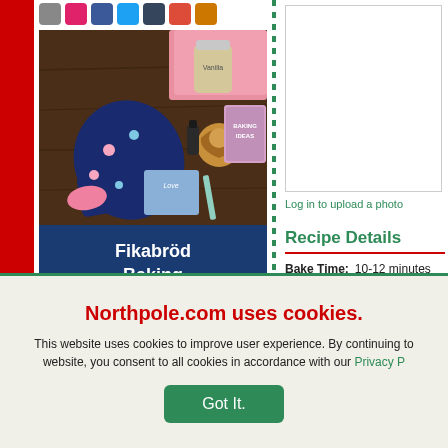[Figure (screenshot): Social media sharing icons: email, Pinterest, Facebook, Twitter, Tumblr, Google+, email/share]
[Figure (photo): Fikabröd Baking Subscription Box product photo showing baking socks, jar, notebook, pen, and BAKING IDEAS card on a wooden table with blue banner text below reading Fikabröd Baking Subscription]
[Figure (screenshot): Upload photo placeholder box (empty white box with border)]
Log in to upload a photo
Recipe Details
Bake Time:    10-12 minutes
Northpole.com uses cookies.
This website uses cookies to improve user experience. By continuing to website, you consent to all cookies in accordance with our Privacy P
Got It.